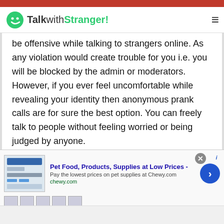TalkwithStranger!
be offensive while talking to strangers online. As any violation would create trouble for you i.e. you will be blocked by the admin or moderators. However, if you ever feel uncomfortable while revealing your identity then anonymous prank calls are for sure the best option. You can freely talk to people without feeling worried or being judged by anyone.
Well, we have only listed a few of the random chat rooms and features. There are a lot more chat rooms and features available at Talkwithstranger app that
[Figure (screenshot): Advertisement banner: Pet Food, Products, Supplies at Low Prices - Pay the lowest prices on pet supplies at Chewy.com, chewy.com]